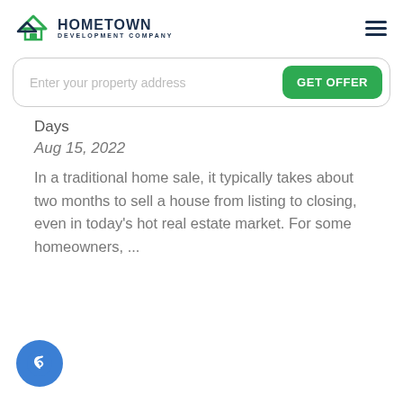HOMETOWN DEVELOPMENT COMPANY
Enter your property address
GET OFFER
Days
Aug 15, 2022
In a traditional home sale, it typically takes about two months to sell a house from listing to closing, even in today's hot real estate market. For some homeowners, ...